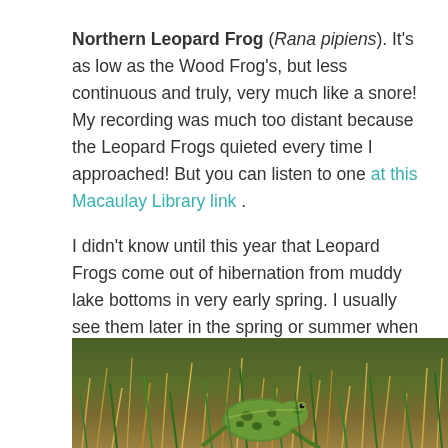Northern Leopard Frog (Rana pipiens). It's as low as the Wood Frog's, but less continuous and truly, very much like a snore! My recording was much too distant because the Leopard Frogs quieted every time I approached! But you can listen to one at this Macaulay Library link .
I didn't know until this year that Leopard Frogs come out of hibernation from muddy lake bottoms in very early spring. I usually see them later in the spring or summer when they move into grassy areas. Here's a picture of one a few summers back in just such an area at Bear Creek Nature Park. Snazzy spots, eh?
[Figure (photo): Close-up photograph of a Northern Leopard Frog in grassy area, showing green spotted frog camouflaged among dry and green grass blades at Bear Creek Nature Park.]